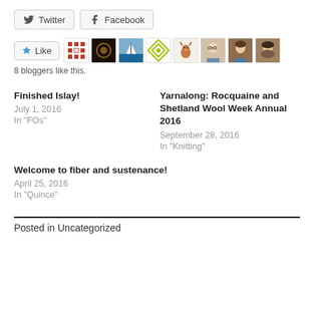[Figure (other): Twitter and Facebook share buttons]
[Figure (other): Like button with 8 blogger avatars]
8 bloggers like this.
Finished Islay!
July 1, 2016
In "FOs"
Yarnalong: Rocquaine and Shetland Wool Week Annual 2016
September 28, 2016
In "Knitting"
Welcome to fiber and sustenance!
April 25, 2016
In "Quince"
Posted in Uncategorized